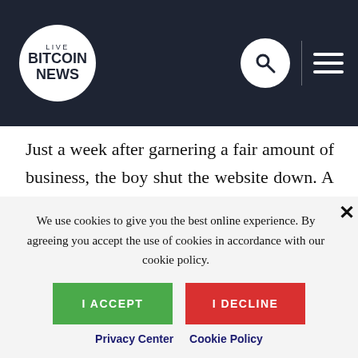Live Bitcoin News
website thinking they were accessing an official site.
Just a week after garnering a fair amount of business, the boy shut the website down. A customer complained about the maneuver which resulted in Love2Shop investigating him and the allegedly competing platform. All proceeds made from the site were used to buy bitcoin units and other forms of digital currencies. Following
We use cookies to give you the best online experience. By agreeing you accept the use of cookies in accordance with our cookie policy.
I ACCEPT
I DECLINE
Privacy Center   Cookie Policy